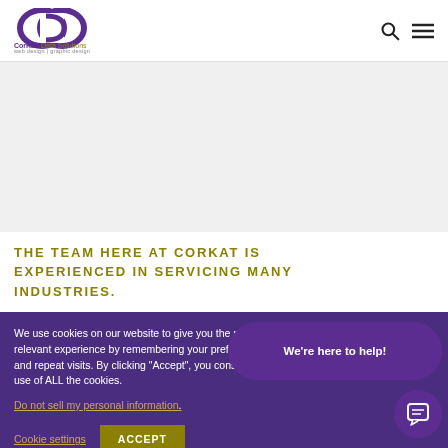CorKat Data Solutions
[Figure (logo): CorKat Data Solutions logo with infinity-style overlapping C and D letters in purple, with company name below]
The team here at CorKat is experienced in servicing many industries.
We use cookies on our website to give you the most relevant experience by remembering your preferences and repeat visits. By clicking "Accept", you consent to the use of ALL the cookies.
Do not sell my personal information.
Cookie settings
ACCEPT
We're here to help!